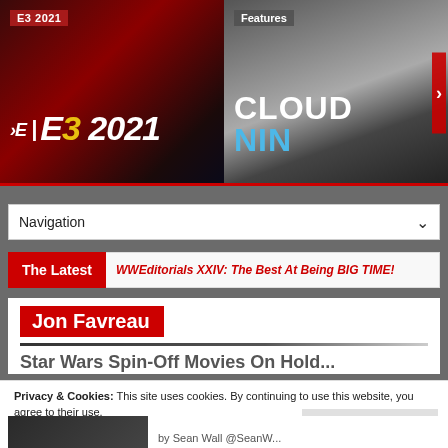[Figure (screenshot): E3 2021 banner image with dark red background, E3 logo in white and yellow]
[Figure (screenshot): Features banner showing CLOUD NIN text with dark smoky background]
Navigation
The Latest
WWEditorials XXIV: The Best At Being BIG TIME!
Jon Favreau
Star Wars Spin-Off Movies On Hold...
Privacy & Cookies: This site uses cookies. By continuing to use this website, you agree to their use.
To find out more, including how to control cookies, see here: Cookie Policy
Close and accept